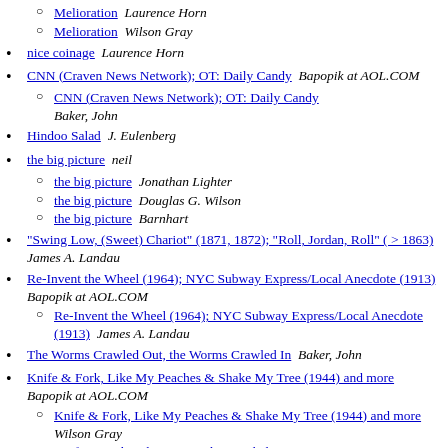Melioration  Laurence Horn
Melioration  Wilson Gray
nice coinage  Laurence Horn
CNN (Craven News Network); OT: Daily Candy  Bapopik at AOL.COM
CNN (Craven News Network); OT: Daily Candy  Baker, John
Hindoo Salad  J. Eulenberg
the big picture  neil
the big picture  Jonathan Lighter
the big picture  Douglas G. Wilson
the big picture  Barnhart
"Swing Low, (Sweet) Chariot" (1871, 1872); "Roll, Jordan, Roll" ( > 1863)  James A. Landau
Re-Invent the Wheel (1964); NYC Subway Express/Local Anecdote (1913)  Bapopik at AOL.COM
Re-Invent the Wheel (1964); NYC Subway Express/Local Anecdote (1913)  James A. Landau
The Worms Crawled Out, the Worms Crawled In  Baker, John
Knife & Fork, Like My Peaches & Shake My Tree (1944) and more  Bapopik at AOL.COM
Knife & Fork, Like My Peaches & Shake My Tree (1944) and more  Wilson Gray
Knife & Fork, Like My Peaches & Shake My Tree